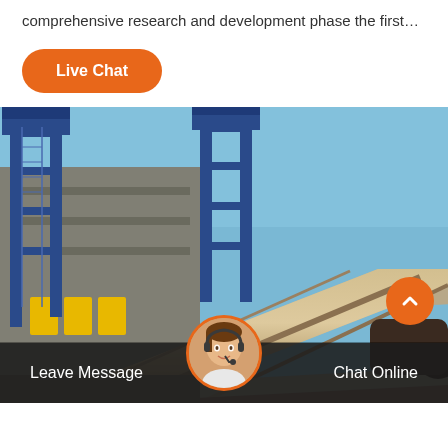comprehensive research and development phase the first…
Live Chat
[Figure (photo): Industrial facility with large rotary kilns or industrial pipes running diagonally, with blue steel framework towers in the background and a clear blue sky. Yellow panels visible on the left side of the structure.]
Leave Message
Chat Online